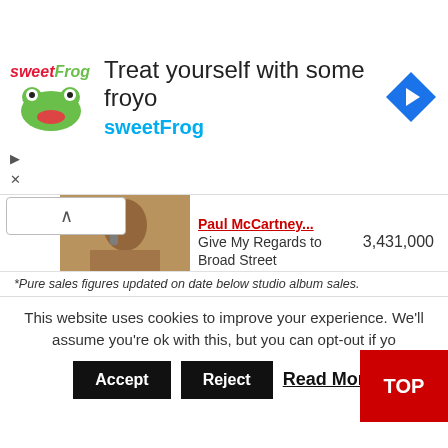[Figure (other): sweetFrog advertisement banner: 'Treat yourself with some froyo' with sweetFrog logo and navigation arrow icon]
| Rank | Image | Artist / Album | Sales |
| --- | --- | --- | --- |
|  |  | Paul McCartney / Give My Regards to Broad Street | 3,431,000 |
| 20 |  | Rod Stewart / Camouflage | 3,356,000 |
| 21 |  | John Lennon & Yoko Ono / Milk and Honey | 2,819,000 |
| 22 |  | Barbra Streisand / Emotion | 2,156,000 |
*Pure sales figures updated on date below studio album sales.
This website uses cookies to improve your experience. We'll assume you're ok with this, but you can opt-out if you